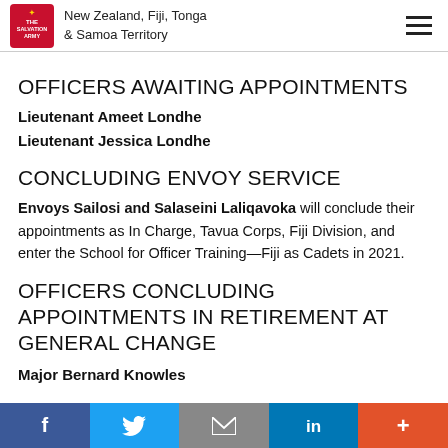New Zealand, Fiji, Tonga & Samoa Territory
OFFICERS AWAITING APPOINTMENTS
Lieutenant Ameet Londhe
Lieutenant Jessica Londhe
CONCLUDING ENVOY SERVICE
Envoys Sailosi and Salaseini Laliqavoka will conclude their appointments as In Charge, Tavua Corps, Fiji Division, and enter the School for Officer Training—Fiji as Cadets in 2021.
OFFICERS CONCLUDING APPOINTMENTS IN RETIREMENT AT GENERAL CHANGE
Major Bernard Knowles
f  Twitter  Email  in  +